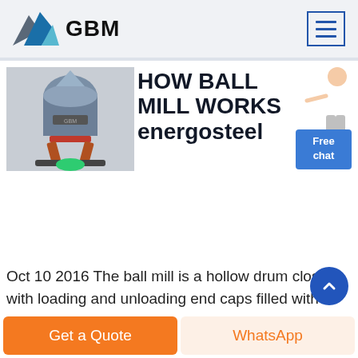GBM
[Figure (photo): Industrial ball mill machine photo on left side of article header]
HOW BALL MILL WORKS energosteel
[Figure (illustration): Woman in white shirt pointing, customer service illustration with Free chat button]
Oct 10 2016  The ball mill is a hollow drum closed with loading and unloading end caps filled with grinding media and rotated around its axis.The drum of the ball mill Pic 1 is a hollow cylinder of steel lined inside with armor lining plates which protect it from impact and friction effects of the balls and the grinding
Get a Quote
WhatsApp